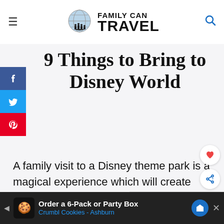Family Can Travel
9 Things to Bring to Disney World
A family visit to a Disney theme park is a magical experience which will create happy lifelong memories. We want to help make your family trip to Disney as special as possible. Disney
[Figure (infographic): Advertisement banner: Order a 6-Pack or Party Box - Crumbl Cookies - Ashburn]